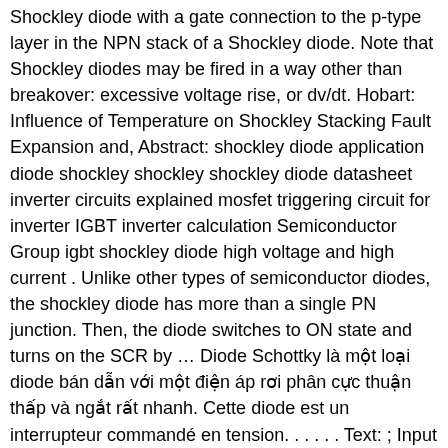Shockley diode with a gate connection to the p-type layer in the NPN stack of a Shockley diode. Note that Shockley diodes may be fired in a way other than breakover: excessive voltage rise, or dv/dt. Hobart: Influence of Temperature on Shockley Stacking Fault Expansion and, Abstract: shockley diode application diode shockley shockley shockley diode datasheet inverter circuits explained mosfet triggering circuit for inverter IGBT inverter calculation Semiconductor Group igbt shockley diode high voltage and high current . Unlike other types of semiconductor diodes, the shockley diode has more than a single PN junction. Then, the diode switches to ON state and turns on the SCR by … Diode Schottky là một loại diode bán dẫn với một điện áp rơi phân cực thuận thấp và ngắt rất nhanh. Cette diode est un interrupteur commandé en tension. . . . . . Text: ; Input protection diode KD7 -O OUT R ; Input protection resistor R HfH ÎID5 2ÎD6 D 3,Di,; Parasitic diode formed by P-channel MOS FET D 5,D6 ; Parasitic diode formed by N-channel MOS FET D7 ; Parasitic diode formed by P-wel1 Fig. Cadence enables users accurately